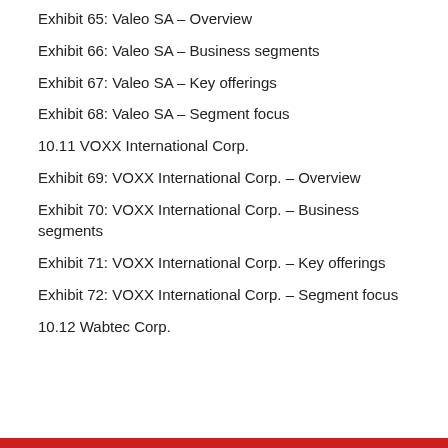Exhibit 65: Valeo SA – Overview
Exhibit 66: Valeo SA – Business segments
Exhibit 67: Valeo SA – Key offerings
Exhibit 68: Valeo SA – Segment focus
10.11 VOXX International Corp.
Exhibit 69: VOXX International Corp. – Overview
Exhibit 70: VOXX International Corp. – Business segments
Exhibit 71: VOXX International Corp. – Key offerings
Exhibit 72: VOXX International Corp. – Segment focus
10.12 Wabtec Corp.